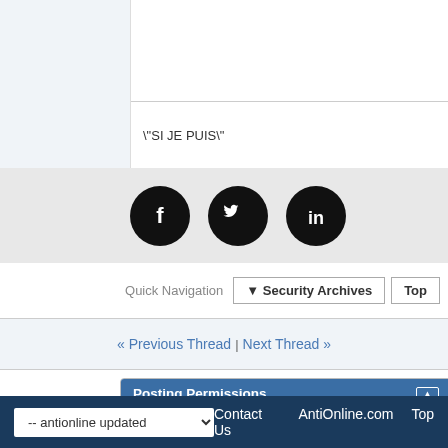"SI JE PUIS"
[Figure (logo): Social media icons: Facebook, Twitter, LinkedIn (black circles with white icons)]
Quick Navigation  ▼ Security Archives  Top
« Previous Thread | Next Thread »
Posting Permissions
You may not post new threads
You may not post replies
You may not post attachments
You may not edit your posts
BB code is On
Smilies are On
[IMG] code is Off
[VIDEO] code is Off
HTML code is Off
Forum Rules
-- antionline updated   Contact Us  AntiOnline.com  Top